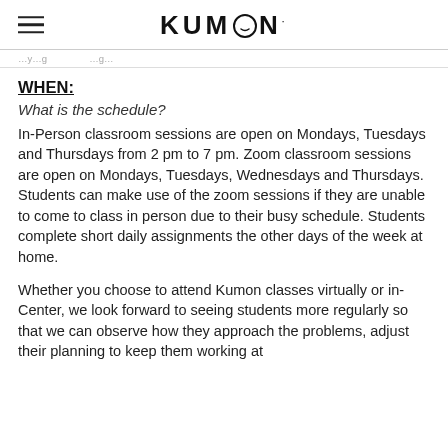KUMON
...y...g...g...
WHEN:
What is the schedule?
In-Person classroom sessions are open on Mondays, Tuesdays and Thursdays from 2 pm to 7 pm. Zoom classroom sessions are open on Mondays, Tuesdays, Wednesdays and Thursdays. Students can make use of the zoom sessions if they are unable to come to class in person due to their busy schedule. Students complete short daily assignments the other days of the week at home.
Whether you choose to attend Kumon classes virtually or in-Center, we look forward to seeing students more regularly so that we can observe how they approach the problems, adjust their planning to keep them working at